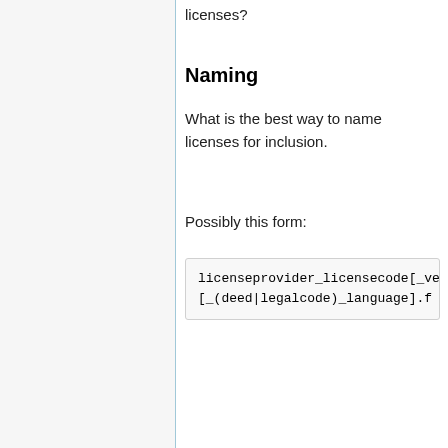licenses?
Naming
What is the best way to name licenses for inclusion.
Possibly this form:
licenseprovider_licensecode[_ve
[_(deed|legalcode)_language].f
Then, for the three file types, this possibly would make sense:
cc_by-sa_2.5.rdf
cc_by-sa_2.5_legalcode.html
cc_by-sa_2.5_deed.html
This way also, a system could have other versions of licenses, such as